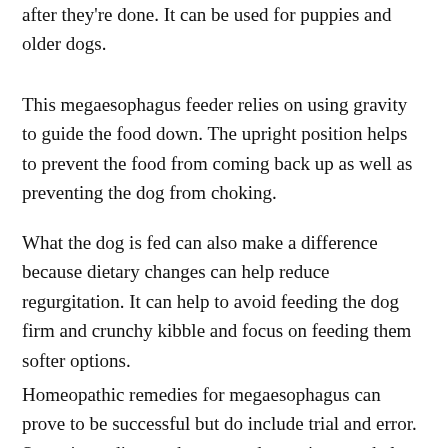after they're done. It can be used for puppies and older dogs.
This megaesophagus feeder relies on using gravity to guide the food down. The upright position helps to prevent the food from coming back up as well as preventing the dog from choking.
What the dog is fed can also make a difference because dietary changes can help reduce regurgitation. It can help to avoid feeding the dog firm and crunchy kibble and focus on feeding them softer options.
Homeopathic remedies for megaesophagus can prove to be successful but do include trial and error. Sometimes dietary changes and exercises can help curb the